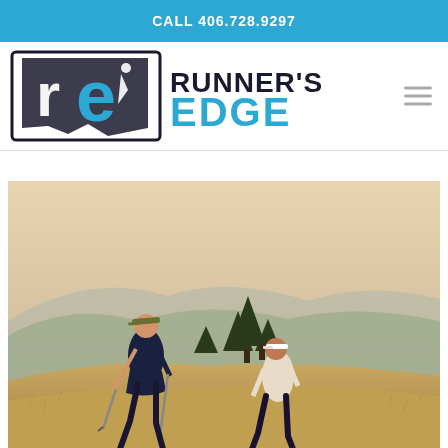CALL 406.728.9297
[Figure (logo): Runner's Edge logo with Montana state outline and stylized 're' emblem, with RUNNER'S EDGE text in bold black and blue]
[Figure (photo): Two women hiking on a grassy hillside with trekking poles, misty mountains and trees in background, warm hazy sky]